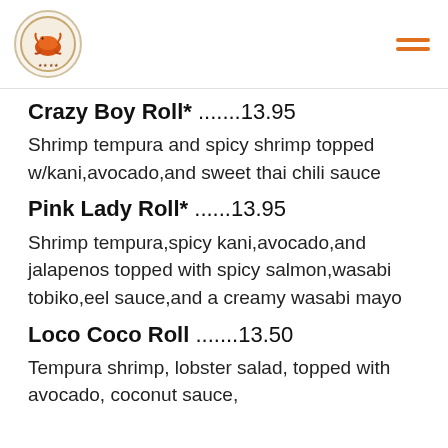[Figure (logo): Restaurant circular logo with orange/red bird illustration and text around the border]
Crazy Boy Roll* .......13.95
Shrimp tempura and spicy shrimp topped w/kani,avocado,and sweet thai chili sauce
Pink Lady Roll* ......13.95
Shrimp tempura,spicy kani,avocado,and jalapenos topped with spicy salmon,wasabi tobiko,eel sauce,and a creamy wasabi mayo
Loco Coco Roll .......13.50
Tempura shrimp, lobster salad, topped with avocado, coconut sauce,